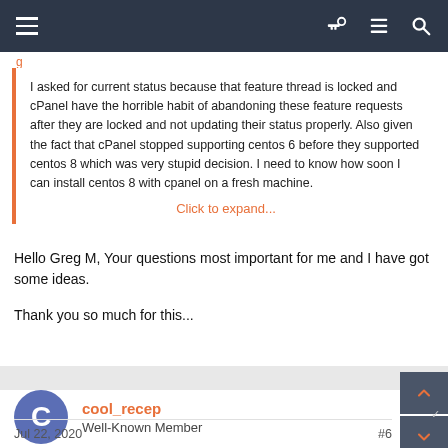Navigation bar with hamburger menu and icons
I asked for current status because that feature thread is locked and cPanel have the horrible habit of abandoning these feature requests after they are locked and not updating their status properly. Also given the fact that cPanel stopped supporting centos 6 before they supported centos 8 which was very stupid decision. I need to know how soon I can install centos 8 with cpanel on a fresh machine.
Click to expand...
Hello Greg M, Your questions most important for me and I have got some ideas.

Thank you so much for this...
cool_recep
Well-Known Member
Jul 22, 2020   #6